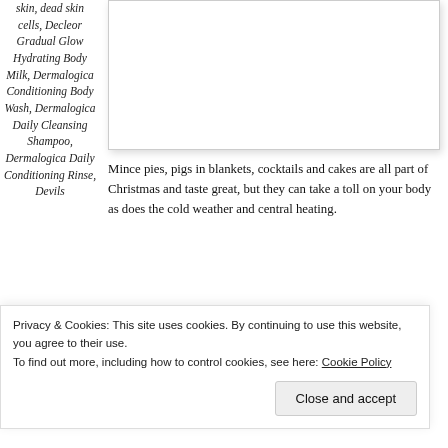skin, dead skin cells, Decleor Gradual Glow Hydrating Body Milk, Dermalogica Conditioning Body Wash, Dermalogica Daily Cleansing Shampoo, Dermalogica Daily Conditioning Rinse, Devils
[Figure (photo): A photograph shown in a white box with light border and shadow, positioned in the upper right area of the page.]
Mince pies, pigs in blankets, cocktails and cakes are all part of Christmas and taste great, but they can take a toll on your body as does the cold weather and central heating.
This January, as well as eating a healthy diet, drinking lots of water and taking regular exercise, you can help
Privacy & Cookies: This site uses cookies. By continuing to use this website, you agree to their use.
To find out more, including how to control cookies, see here: Cookie Policy
Close and accept
Detox Skin